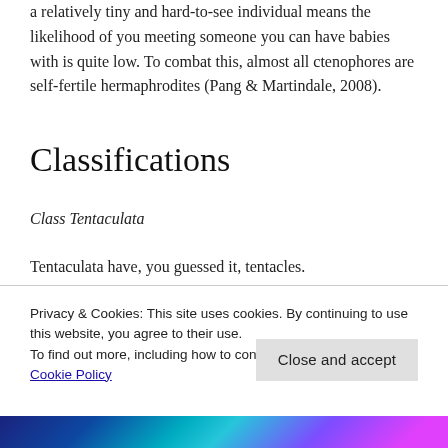a relatively tiny and hard-to-see individual means the likelihood of you meeting someone you can have babies with is quite low. To combat this, almost all ctenophores are self-fertile hermaphrodites (Pang & Martindale, 2008).
Classifications
Class Tentaculata
Tentaculata have, you guessed it, tentacles.
Privacy & Cookies: This site uses cookies. By continuing to use this website, you agree to their use.
To find out more, including how to control cookies, see here: Cookie Policy
[Figure (photo): Partial view of a bioluminescent marine creature (ctenophore) against a dark background, showing colorful iridescent light effects.]